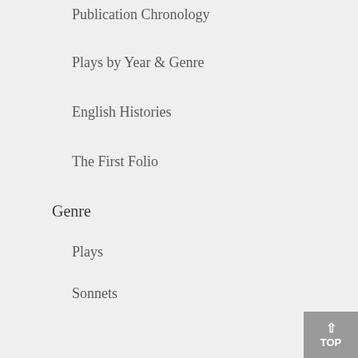Publication Chronology
Plays by Year & Genre
English Histories
The First Folio
Genre
Plays
Sonnets
Poems
Songs
Elements
Figures of Speech
Figures of Speech by Name